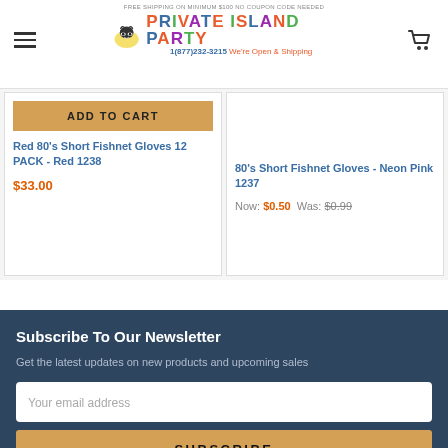FREE SHIPPING ON MINIMUM $100 NO COUPON CODE NEEDED | PRIVATE ISLAND PARTY | 1(877)232-3215 We're Open & Shipping
Red 80's Short Fishnet Gloves 12 PACK - Red 1238
$33.00
80's Short Fishnet Gloves - Neon Pink 1237
Now: $0.50  Was: $0.99
Subscribe To Our Newsletter
Get the latest updates on new products and upcoming sales
Your email address
SUBSCRIBE